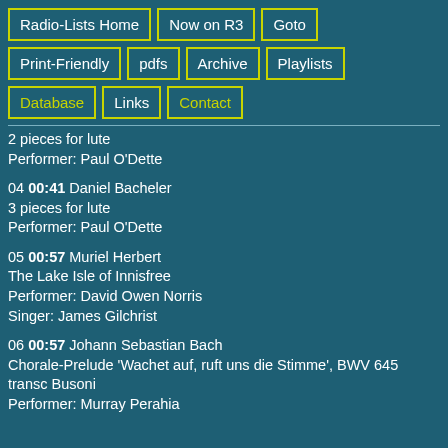Radio-Lists Home
Now on R3
Goto
Print-Friendly
pdfs
Archive
Playlists
Database
Links
Contact
2 pieces for lute
Performer: Paul O'Dette
04 00:41 Daniel Bacheler
3 pieces for lute
Performer: Paul O'Dette
05 00:57 Muriel Herbert
The Lake Isle of Innisfree
Performer: David Owen Norris
Singer: James Gilchrist
06 00:57 Johann Sebastian Bach
Chorale-Prelude 'Wachet auf, ruft uns die Stimme', BWV 645 transc Busoni
Performer: Murray Perahia